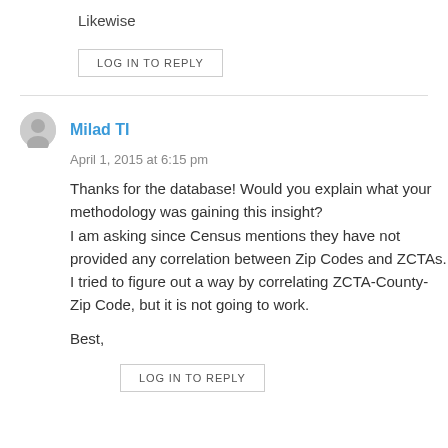Likewise
LOG IN TO REPLY
Milad TI
April 1, 2015 at 6:15 pm
Thanks for the database! Would you explain what your methodology was gaining this insight?
I am asking since Census mentions they have not provided any correlation between Zip Codes and ZCTAs. I tried to figure out a way by correlating ZCTA-County-Zip Code, but it is not going to work.
Best,
LOG IN TO REPLY